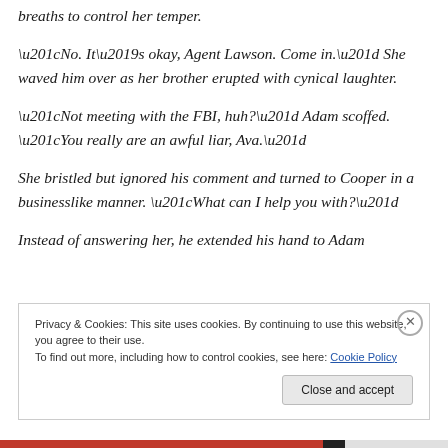breaths to control her temper.
“No. It’s okay, Agent Lawson. Come in.” She waved him over as her brother erupted with cynical laughter.
“Not meeting with the FBI, huh?” Adam scoffed. “You really are an awful liar, Ava.”
She bristled but ignored his comment and turned to Cooper in a businesslike manner. “What can I help you with?”
Instead of answering her, he extended his hand to Adam
Privacy & Cookies: This site uses cookies. By continuing to use this website, you agree to their use.
To find out more, including how to control cookies, see here: Cookie Policy
Close and accept